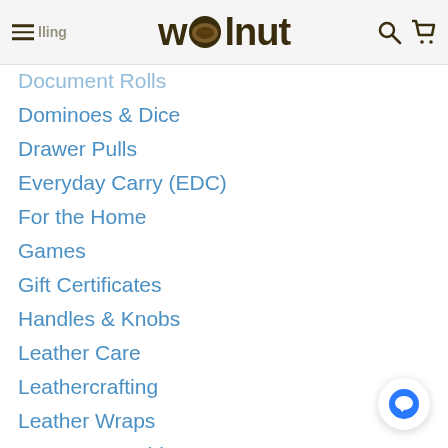wolnut
Document Rolls
Dominoes & Dice
Drawer Pulls
Everyday Carry (EDC)
For the Home
Games
Gift Certificates
Handles & Knobs
Leather Care
Leathercrafting
Leather Wraps
Monogrammable
Office / Professional Gifts